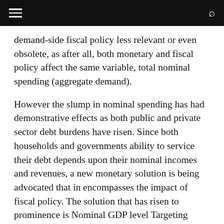[navigation bar with hamburger menu and search icon]
demand-side fiscal policy less relevant or even obsolete, as after all, both monetary and fiscal policy affect the same variable, total nominal spending (aggregate demand).
However the slump in nominal spending has had demonstrative effects as both public and private sector debt burdens have risen. Since both households and governments ability to service their debt depends upon their nominal incomes and revenues, a new monetary solution is being advocated that in encompasses the impact of fiscal policy. The solution that has risen to prominence is Nominal GDP level Targeting (NGDPLT).